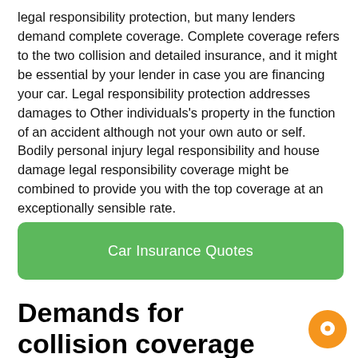legal responsibility protection, but many lenders demand complete coverage. Complete coverage refers to the two collision and detailed insurance, and it might be essential by your lender in case you are financing your car. Legal responsibility protection addresses damages to Other individuals's property in the function of an accident although not your own auto or self. Bodily personal injury legal responsibility and house damage legal responsibility coverage might be combined to provide you with the top coverage at an exceptionally sensible rate.
Car Insurance Quotes
Demands for collision coverage